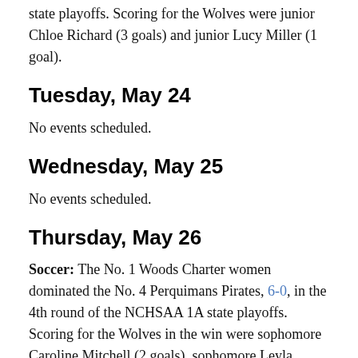state playoffs. Scoring for the Wolves were junior Chloe Richard (3 goals) and junior Lucy Miller (1 goal).
Tuesday, May 24
No events scheduled.
Wednesday, May 25
No events scheduled.
Thursday, May 26
Soccer: The No. 1 Woods Charter women dominated the No. 4 Perquimans Pirates, 6-0, in the 4th round of the NCHSAA 1A state playoffs. Scoring for the Wolves in the win were sophomore Caroline Mitchell (2 goals), sophomore Leyla Noronha (1 goal), junior Lucy Miller (1 goal), sophomore Taylor Young (1 goal) and junior Megan Nowak (1 goal).